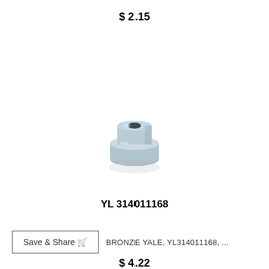$ 2.15
[Figure (photo): Small zinc/steel flanged bushing or grommet with a cylindrical bore, viewed from a slight angle showing the top face and flared base.]
YL 314011168
Save & Share
BRONZE YALE, YL314011168, ...
$ 4.22